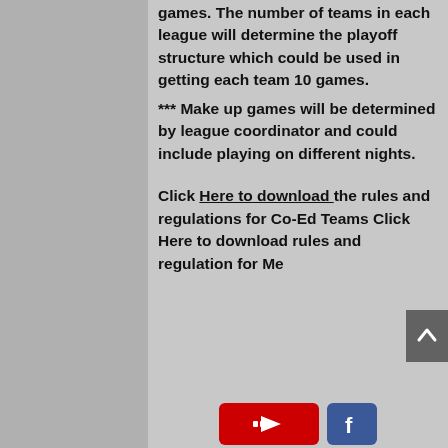All teams are guaranteed 8 games. The number of teams in each league will determine the playoff structure which could be used in getting each team 10 games.
*** Make up games will be determined by league coordinator and could include playing on different nights.
Click Here to download the rules and regulations for Co-Ed Teams Click Here to download rules and regulation for Me
[Figure (logo): YouTube and Facebook social media icons at page bottom]